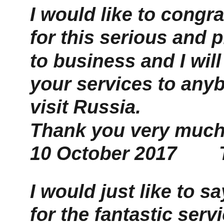I would like to congratulate you for this serious and professional approach to business and I will certainly recommend your services to anybody who has to visit Russia. Thank you very much! 10 October 2017        Tomasz, B...
I would just like to say a very bi... for the fantastic service - the ba...